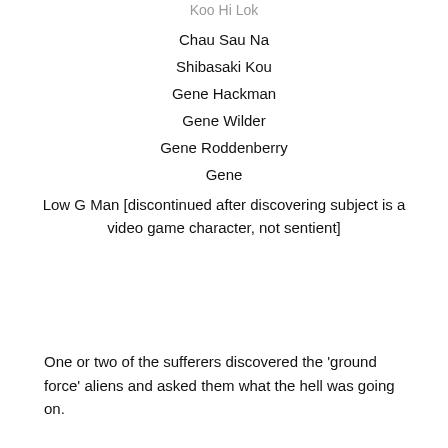Koo Hi Lok
Chau Sau Na
Shibasaki Kou
Gene Hackman
Gene Wilder
Gene Roddenberry
Gene
Low G Man [discontinued after discovering subject is a video game character, not sentient]
One or two of the sufferers discovered the ‘ground force’ aliens and asked them what the hell was going on.